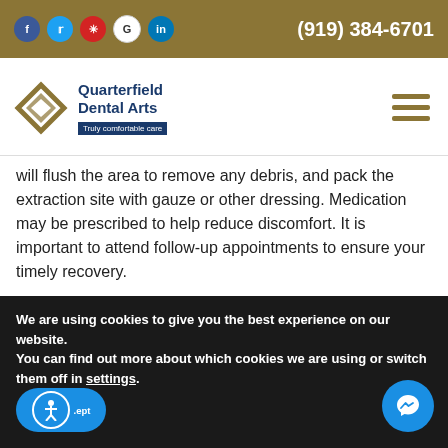Social icons: f, twitter, yelp, G, in | Phone: (919) 384-6701
[Figure (logo): Quarterfield Dental Arts logo with diamond icon and tagline 'Truly comfortable care']
will flush the area to remove any debris, and pack the extraction site with gauze or other dressing. Medication may be prescribed to help reduce discomfort. It is important to attend follow-up appointments to ensure your timely recovery.
Dry socket is rare, and is temporary and treatable when it does occur. Our experienced dentist in Glen Burnie will
We are using cookies to give you the best experience on our website.
You can find out more about which cookies we are using or switch them off in settings.